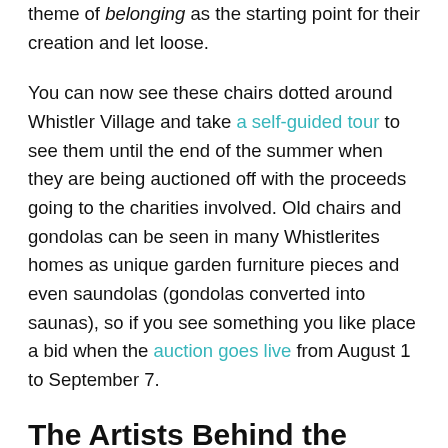theme of belonging as the starting point for their creation and let loose.
You can now see these chairs dotted around Whistler Village and take a self-guided tour to see them until the end of the summer when they are being auctioned off with the proceeds going to the charities involved. Old chairs and gondolas can be seen in many Whistlerites homes as unique garden furniture pieces and even saundolas (gondolas converted into saunas), so if you see something you like place a bid when the auction goes live from August 1 to September 7.
The Artists Behind the Chairs
We wanted to better understand how the artists projected their ideas of belonging onto these precious